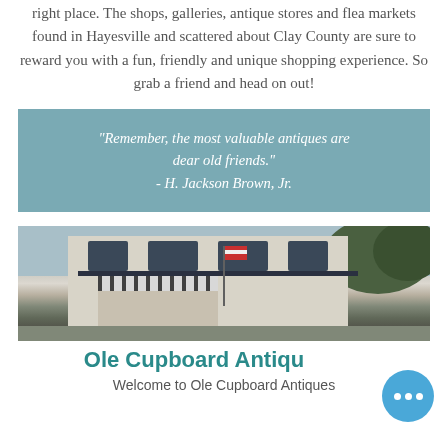right place. The shops, galleries, antique stores and flea markets found in Hayesville and scattered about Clay County are sure to reward you with a fun, friendly and unique shopping experience. So grab a friend and head on out!
"Remember, the most valuable antiques are dear old friends." - H. Jackson Brown, Jr.
[Figure (photo): Exterior photo of Ole Cupboard Antiques store building, white/light colored multi-story building with balcony, striped awning, flags, and trees in background]
Ole Cupboard Antiqu...
Welcome to Ole Cupboard Antiques